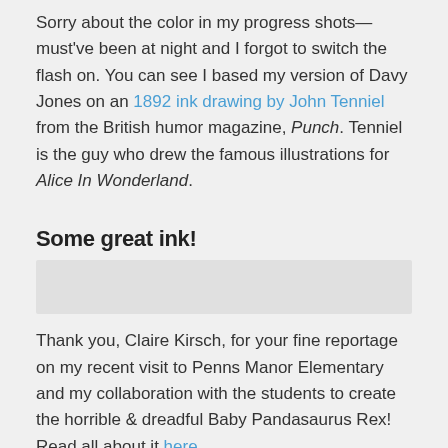Sorry about the color in my progress shots—must've been at night and I forgot to switch the flash on. You can see I based my version of Davy Jones on an 1892 ink drawing by John Tenniel from the British humor magazine, Punch. Tenniel is the guy who drew the famous illustrations for Alice In Wonderland.
Some great ink!
[Figure (other): Faded/watermarked image strip placeholder]
Thank you, Claire Kirsch, for your fine reportage on my recent visit to Penns Manor Elementary and my collaboration with the students to create the horrible & dreadful Baby Pandasaurus Rex! Read all about it here.